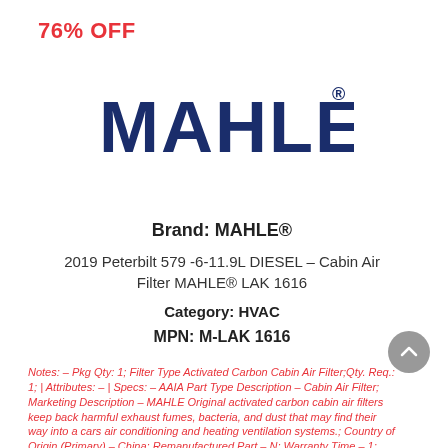76% OFF
[Figure (logo): MAHLE brand logo in dark navy blue bold sans-serif text with registered trademark symbol]
Brand: MAHLE®
2019 Peterbilt 579 -6-11.9L DIESEL – Cabin Air Filter MAHLE® LAK 1616
Category: HVAC
MPN: M-LAK 1616
Notes: – Pkg Qty: 1; Filter Type Activated Carbon Cabin Air Filter;Qty. Req.: 1; | Attributes: – | Specs: – AAIA Part Type Description – Cabin Air Filter; Marketing Description – MAHLE Original activated carbon cabin air filters keep back harmful exhaust fumes, bacteria, and dust that may find their way into a cars air conditioning and heating ventilation systems.; Country of Origin (Primary) – China; Remanufactured Part – N; Warranty Time – 1; Warranty Time UOM –